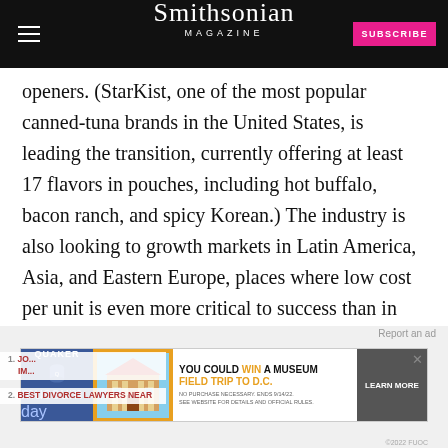Smithsonian MAGAZINE
openers. (StarKist, one of the most popular canned-tuna brands in the United States, is leading the transition, currently offering at least 17 flavors in pouches, including hot buffalo, bacon ranch, and spicy Korean.) The industry is also looking to growth markets in Latin America, Asia, and Eastern Europe, places where low cost per unit is even more critical to success than in the United States.
[Figure (screenshot): Quaker advertisement banner: 'YOU COULD WIN A MUSEUM FIELD TRIP TO D.C.' with Learn More button]
1. BEST DIVORCE LAWYERS NEAR...
2. BEST DIVORCE LAWYERS NEAR